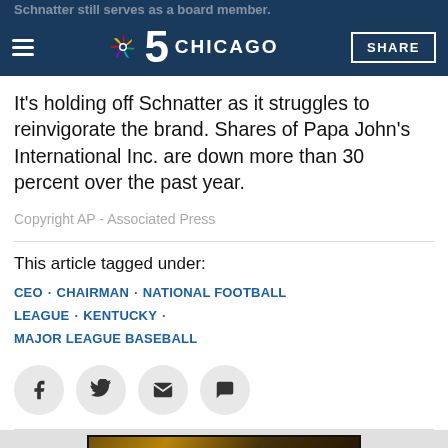Schnatter still serves as a board member.
[Figure (screenshot): NBC 5 Chicago navigation bar with hamburger menu, NBC peacock logo, '5 CHICAGO' branding, and SHARE button on dark navy background]
It's holding off Schnatter as it struggles to reinvigorate the brand. Shares of Papa John's International Inc. are down more than 30 percent over the past year.
Copyright AP - Associated Press
This article tagged under:
CEO · CHAIRMAN · NATIONAL FOOTBALL LEAGUE · KENTUCKY · MAJOR LEAGUE BASEBALL
[Figure (screenshot): Social sharing icons: Facebook, Twitter, Email, Comment buttons as circular grey icons]
[Figure (screenshot): Peacock ORIGINAL promotional image with decorative text showing partial word in yellow on dark background]